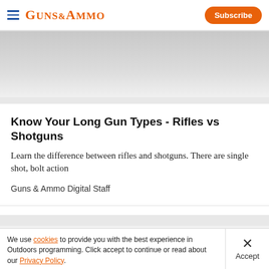Guns & Ammo | Subscribe
[Figure (photo): Gray gradient image area, partial article hero image]
Know Your Long Gun Types - Rifles vs Shotguns
Learn the difference between rifles and shotguns. There are single shot, bolt action
Guns & Ammo Digital Staff
[Figure (other): Advertisement placeholder banner]
We use cookies to provide you with the best experience in Outdoors programming. Click accept to continue or read about our Privacy Policy.